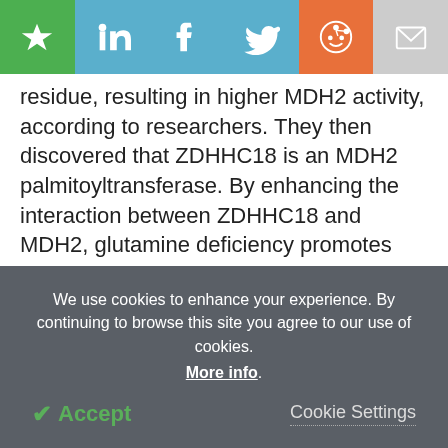[Figure (infographic): Social sharing toolbar with icons: bookmark (green), LinkedIn (teal), Facebook (teal), Twitter (teal), Reddit (orange), Email (grey)]
residue, resulting in higher MDH2 activity, according to researchers. They then discovered that ZDHHC18 is an MDH2 palmitoyltransferase. By enhancing the interaction between ZDHHC18 and MDH2, glutamine deficiency promotes MDH2 palmitoylation.
In vitro and in vivo, silencing MDH2 inhibits mitochondrial respiration as well as ovarian cancer cell proliferation. Re-expression of wild-type MDH2, but not its palmitoylation-deficient C138S mutant, maintains
We use cookies to enhance your experience. By continuing to browse this site you agree to our use of cookies. More info.